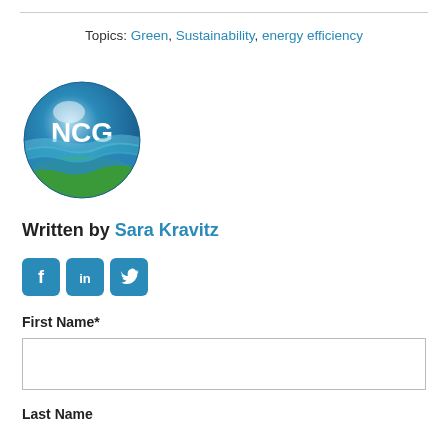Topics: Green, Sustainability, energy efficiency
[Figure (logo): NCG logo — blue globe with white NCG letters and blue/green wave lines at bottom]
Written by Sara Kravitz
[Figure (illustration): Social media icons: Facebook, LinkedIn, Twitter in blue rounded squares]
First Name*
Last Name